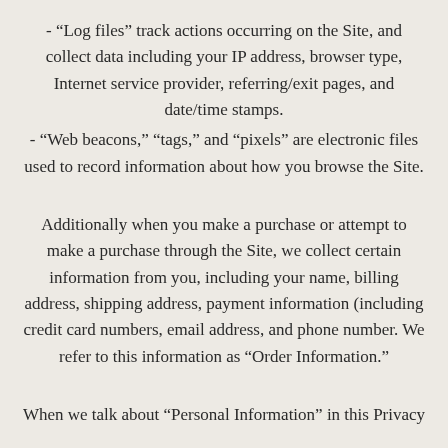- “Log files” track actions occurring on the Site, and collect data including your IP address, browser type, Internet service provider, referring/exit pages, and date/time stamps.
- “Web beacons,” “tags,” and “pixels” are electronic files used to record information about how you browse the Site.
Additionally when you make a purchase or attempt to make a purchase through the Site, we collect certain information from you, including your name, billing address, shipping address, payment information (including credit card numbers, email address, and phone number. We refer to this information as “Order Information.”
When we talk about “Personal Information” in this Privacy